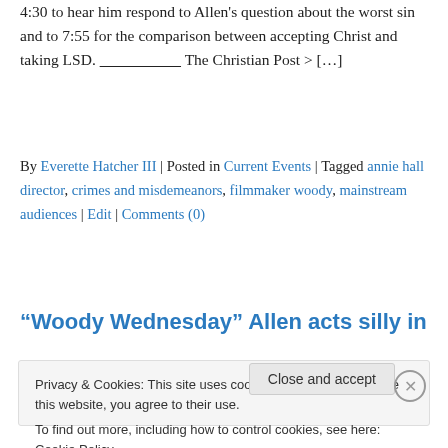4:30 to hear him respond to Allen's question about the worst sin and to 7:55 for the comparison between accepting Christ and taking LSD. ___________________ The Christian Post > […]
By Everette Hatcher III | Posted in Current Events | Tagged annie hall director, crimes and misdemeanors, filmmaker woody, mainstream audiences | Edit | Comments (0)
“Woody Wednesday” Allen acts silly in
Privacy & Cookies: This site uses cookies. By continuing to use this website, you agree to their use.
To find out more, including how to control cookies, see here: Cookie Policy
Close and accept